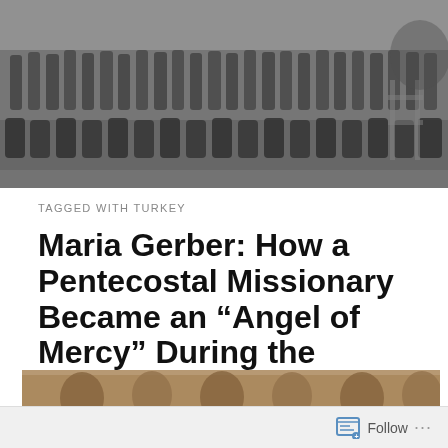[Figure (photo): Black and white historical group photo of many men posed outdoors, some seated and some standing, in early 20th century attire.]
TAGGED WITH TURKEY
Maria Gerber: How a Pentecostal Missionary Became an “Angel of Mercy” During the Armenian Genocide
[Figure (photo): Sepia-toned historical photograph showing close-up of several people, partial figures visible.]
Follow ...